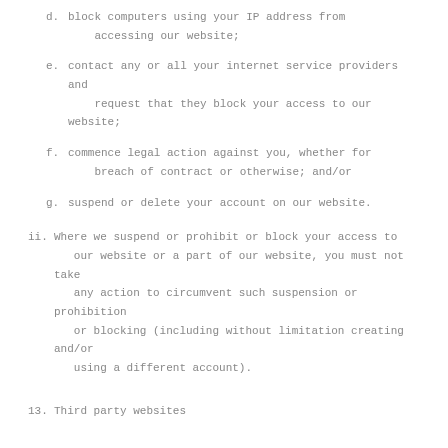d.  block computers using your IP address from accessing our website;
e.  contact any or all your internet service providers and request that they block your access to our website;
f.  commence legal action against you, whether for breach of contract or otherwise; and/or
g.  suspend or delete your account on our website.
ii.  Where we suspend or prohibit or block your access to our website or a part of our website, you must not take any action to circumvent such suspension or prohibition or blocking (including without limitation creating and/or using a different account).
13.  Third party websites